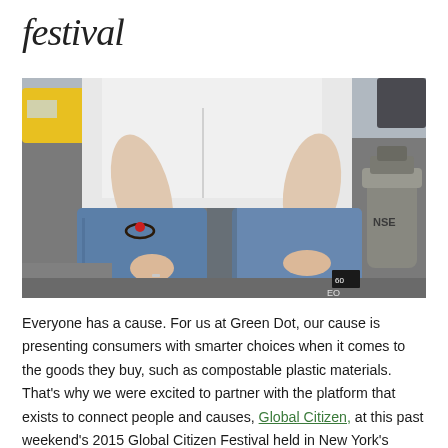festival
[Figure (photo): Close-up photo of a person crouching in blue jeans and a white shirt, with hands resting on knees. The person is wearing a black cord bracelet with a red bead. A fire hydrant is visible to the right and a yellow vehicle in the background.]
Everyone has a cause. For us at Green Dot, our cause is presenting consumers with smarter choices when it comes to the goods they buy, such as compostable plastic materials. That’s why we were excited to partner with the platform that exists to connect people and causes, Global Citizen, at this past weekend’s 2015 Global Citizen Festival held in New York’s